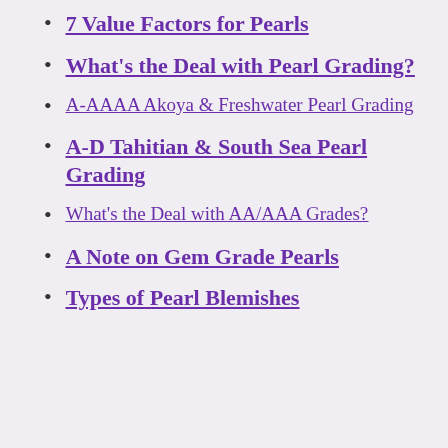7 Value Factors for Pearls
What's the Deal with Pearl Grading?
A-AAAA Akoya & Freshwater Pearl Grading
A-D Tahitian & South Sea Pearl Grading
What's the Deal with AA/AAA Grades?
A Note on Gem Grade Pearls
Types of Pearl Blemishes